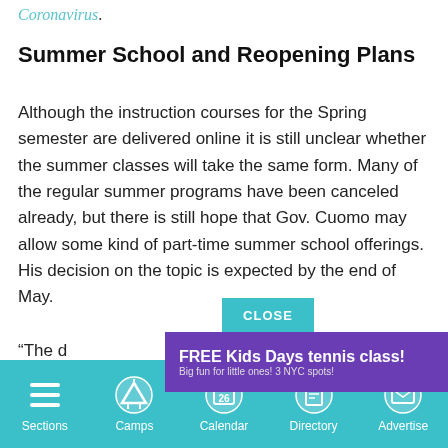Coronavirus.
Summer School and Reopening Plans
Although the instruction courses for the Spring semester are delivered online it is still unclear whether the summer classes will take the same form. Many of the regular summer programs have been canceled already, but there is still hope that Gov. Cuomo may allow some kind of part-time summer school offerings. His decision on the topic is expected by the end of May.
“The d... iously critical... en,
[Figure (screenshot): CLOSE button overlay in teal, followed by an advertisement banner: FREE Kids Days tennis class! Big fun for little ones! 3 NYC spots! ENROLL NOW! with Advantage QuickStart Tennis logo.]
Sections  Camps  Calendar  Directory  Advertise